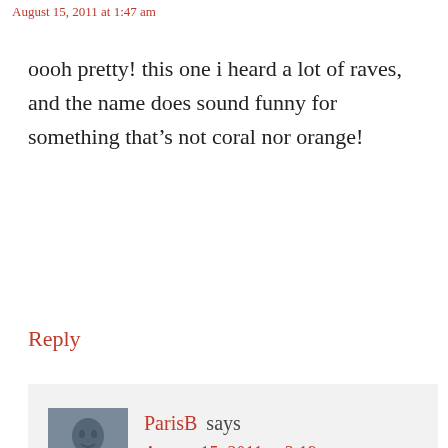August 15, 2011 at 1:47 am
oooh pretty! this one i heard a lot of raves, and the name does sound funny for something that’s not coral nor orange!
Reply
ParisB says
August 15, 2011 at 3:19 pm
Yup! I didn’t believe the name, but that’s what they call it so I have to go with it. Japanese have a strange notion for colours